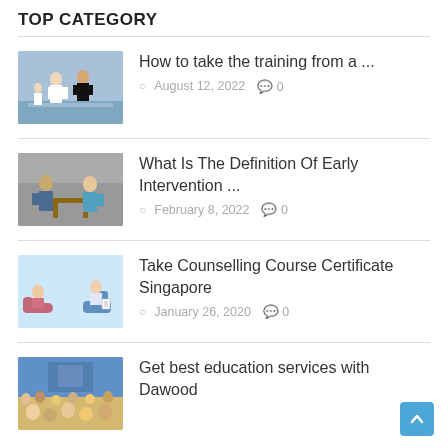TOP CATEGORY
How to take the training from a ...
What Is The Definition Of Early Intervention ...
Take Counselling Course Certificate Singapore
Get best education services with Dawood